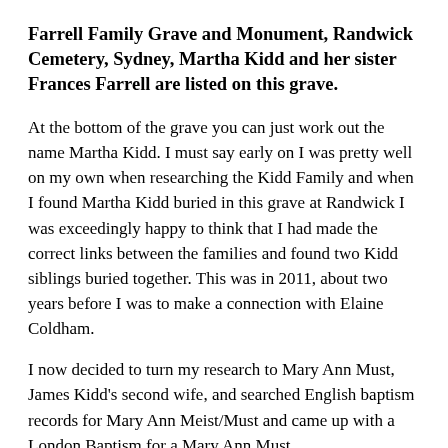Farrell Family Grave and Monument, Randwick Cemetery, Sydney, Martha Kidd and her sister Frances Farrell are listed on this grave.
At the bottom of the grave you can just work out the name Martha Kidd. I must say early on I was pretty well on my own when researching the Kidd Family and when I found Martha Kidd buried in this grave at Randwick I was exceedingly happy to think that I had made the correct links between the families and found two Kidd siblings buried together. This was in 2011, about two years before I was to make a connection with Elaine Coldham.
I now decided to turn my research to Mary Ann Must, James Kidd's second wife, and searched English baptism records for Mary Ann Meist/Must and came up with a London Baptism for a Mary Ann Must.